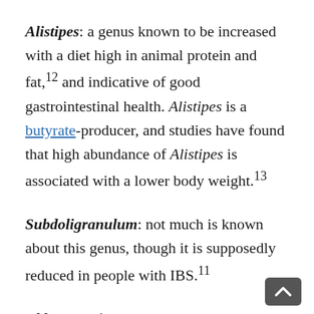Alistipes: a genus known to be increased with a diet high in animal protein and fat,12 and indicative of good gastrointestinal health. Alistipes is a butyrate-producer, and studies have found that high abundance of Alistipes is associated with a lower body weight.13
Subdoligranulum: not much is known about this genus, though it is supposedly reduced in people with IBS.11
Akkermansia: as discussed above, this